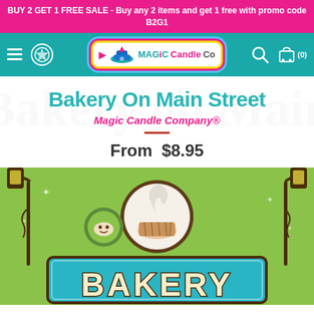BUY 2 GET 1 FREE SALE - Buy any 2 items and get 1 free with promo code B2G1
[Figure (screenshot): Magic Candle Co navigation bar with hamburger menu, badge icon, logo centered, search and cart icons on right]
Bakery On Main Street
Magic Candle Company®
From  $8.95
[Figure (illustration): Bakery On Main Street candle product label illustration with green background, street lamps, cupcake, and BAKERY text in teal retro style]